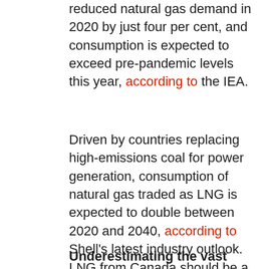reduced natural gas demand in 2020 by just four per cent, and consumption is expected to exceed pre-pandemic levels this year, according to the IEA.
Driven by countries replacing high-emissions coal for power generation, consumption of natural gas traded as LNG is expected to double between 2020 and 2040, according to Shell's latest industry outlook. LNG from Canada should be a growing part of that supply.
Underestimating the vast potential